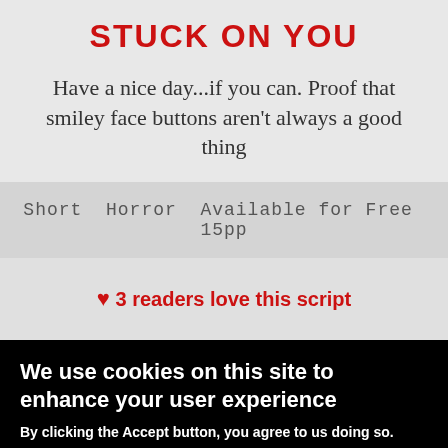STUCK ON YOU
Have a nice day...if you can. Proof that smiley face buttons aren't always a good thing
Short  Horror  Available for Free  15pp
❤ 3 readers love this script
We use cookies on this site to enhance your user experience
By clicking the Accept button, you agree to us doing so.
No, give me more info
OK, I agree
No, thanks